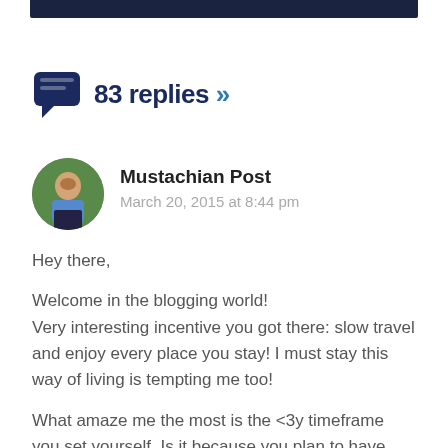83 replies »
Mustachian Post
March 20, 2015 at 8:44 pm
Hey there,

Welcome in the blogging world!
Very interesting incentive you got there: slow travel and enjoy every place you stay! I must stay this way of living is tempting me too!

What amaze me the most is the <3y timeframe you set yourself. Is it because you plan to have